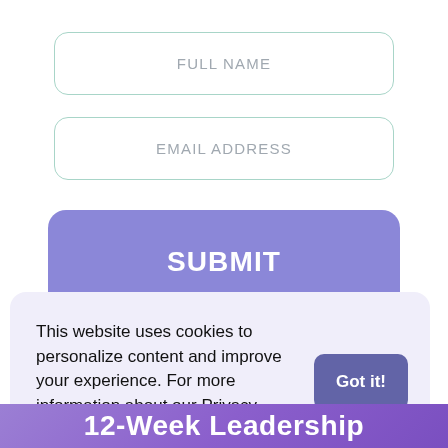FULL NAME
EMAIL ADDRESS
SUBMIT
This website uses cookies to personalize content and improve your experience. For more information about our Privacy Policy Click here.
Got it!
12-Week Leadership